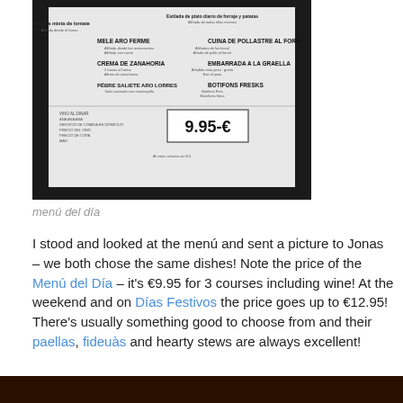[Figure (photo): A photograph of a Spanish restaurant menu (menú del día) printed on white paper, showing various dish options and a price of 9.95€, placed against a dark background.]
menú del día
I stood and looked at the menú and sent a picture to Jonas – we both chose the same dishes! Note the price of the Menú del Día – it's €9.95 for 3 courses including wine! At the weekend and on Días Festivos the price goes up to €12.95! There's usually something good to choose from and their paellas, fideuàs and hearty stews are always excellent!
[Figure (photo): Bottom edge of another photograph, partially visible at the bottom of the page.]